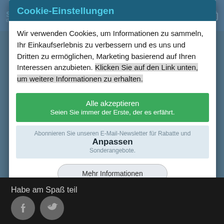Cookie-Einstellungen
Wir verwenden Cookies, um Informationen zu sammeln, Ihr Einkaufserlebnis zu verbessern und es uns und Dritten zu ermöglichen, Marketing basierend auf Ihren Interessen anzubieten. Klicken Sie auf den Link unten, um weitere Informationen zu erhalten.
Alle akzeptieren
Seien Sie immer der Erste, der es erfährt.
Abonnieren Sie unseren E-Mail-Newsletter für Rabatte und Sonderangebote.
Anpassen
Mehr Informationen
Habe am Spaß teil